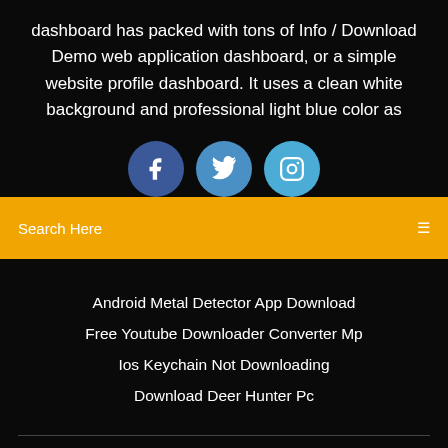dashboard has packed with tons of Info / Download Demo web application dashboard, or a simple website profile dashboard. It uses a clean white background and professional light blue color as
[Figure (illustration): Three social media icon circles in a row: Facebook (dark blue), Twitter (medium blue), Instagram (light blue), each with white icons]
Search Here
Android Metal Detector App Download
Free Youtube Downloader Converter Mp
Ios Keychain Not Downloading
Download Deer Hunter Pc
Copyright ©2022 All rights reserved